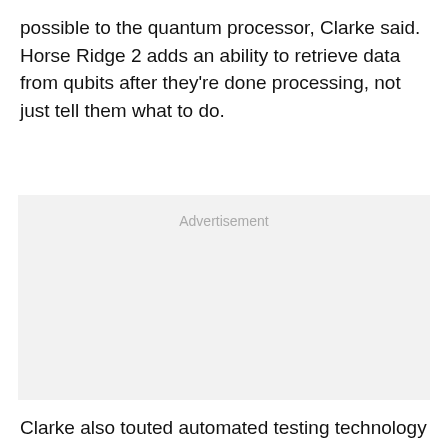possible to the quantum processor, Clarke said. Horse Ridge 2 adds an ability to retrieve data from qubits after they're done processing, not just tell them what to do.
[Figure (other): Advertisement placeholder box with light gray background]
Clarke also touted automated testing technology Intel